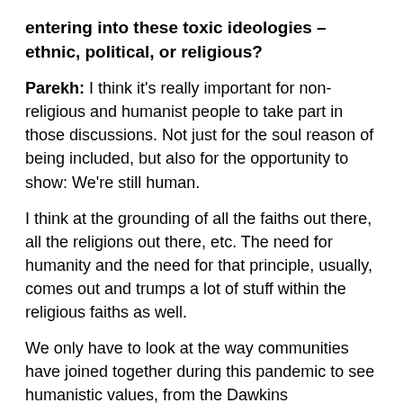entering into these toxic ideologies – ethnic, political, or religious?
Parekh: I think it's really important for non-religious and humanist people to take part in those discussions. Not just for the soul reason of being included, but also for the opportunity to show: We're still human.
I think at the grounding of all the faiths out there, all the religions out there, etc. The need for humanity and the need for that principle, usually, comes out and trumps a lot of stuff within the religious faiths as well.
We only have to look at the way communities have joined together during this pandemic to see humanistic values, from the Dawkins perspective, trump the differences of religion and non-religion.